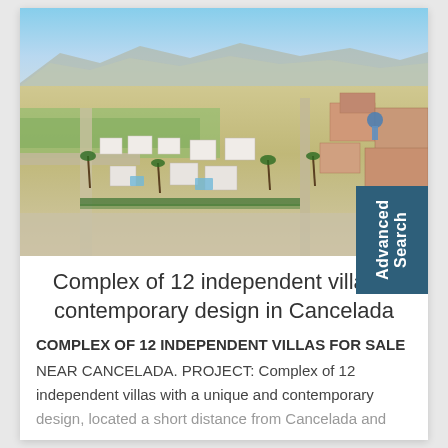[Figure (photo): Aerial drone photo of a complex of modern contemporary villas with pools, palm trees, roads, and mountains in the background under a blue sky. The development appears to be in southern Spain (Cancelada).]
Complex of 12 independent villas of contemporary design in Cancelada
COMPLEX OF 12 INDEPENDENT VILLAS FOR SALE NEAR CANCELADA. PROJECT: Complex of 12 independent villas with a unique and contemporary design, located a short distance from Cancelada and